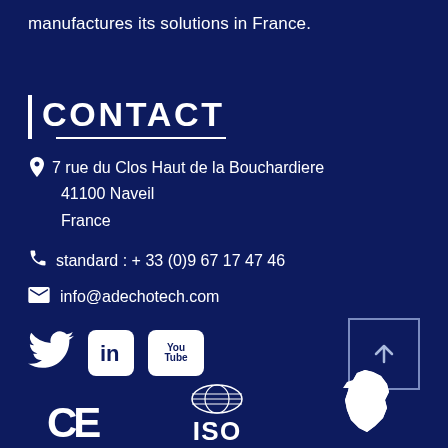manufactures its solutions in France.
CONTACT
7 rue du Clos Haut de la Bouchardiere
41100 Naveil
France
standard : + 33 (0)9 67 17 47 46
info@adechotech.com
[Figure (logo): Social media icons: Twitter bird, LinkedIn square, YouTube square]
[Figure (other): Scroll to top button with upward arrow]
[Figure (logo): CE mark, ISO globe logo, France map silhouette at bottom of page]